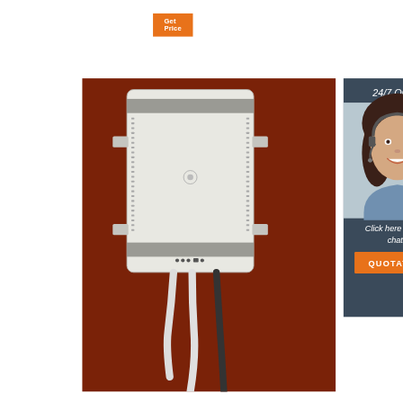[Figure (other): Orange 'Get Price' button at top left area of page]
[Figure (photo): Product photo of a white rectangular network/telecom device mounted on a dark red/brown wall with cables connected at the bottom. Device has side mounting brackets and indicator LEDs.]
[Figure (photo): Customer service chat panel on right side with dark blue-gray background showing '24/7 Online' text, a smiling woman with headset, 'Click here for free chat!' text, and an orange QUOTATION button]